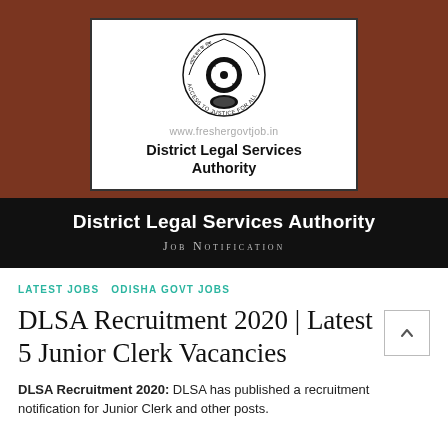[Figure (logo): District Legal Services Authority logo with emblem showing scales of justice and 'Access to Justice for All' text, with watermark www.freshergovtjob.in and text 'District Legal Services Authority' below]
District Legal Services Authority
Job Notification
LATEST JOBS ODISHA GOVT JOBS
DLSA Recruitment 2020 | Latest 5 Junior Clerk Vacancies
DLSA Recruitment 2020: DLSA has published a recruitment notification for Junior Clerk and other posts.